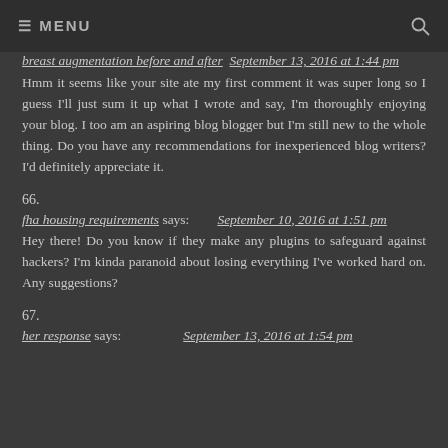≡ MENU
breast augmentation before and after  September 13, 2016 at 1:44 pm
Hmm it seems like your site ate my first comment it was super long so I guess I'll just sum it up what I wrote and say, I'm thoroughly enjoying your blog. I too am an aspiring blog blogger but I'm still new to the whole thing. Do you have any recommendations for inexperienced blog writers? I'd definitely appreciate it.
66.
fha housing requirements says:    September 10, 2016 at 1:51 pm
Hey there! Do you know if they make any plugins to safeguard against hackers? I'm kinda paranoid about losing everything I've worked hard on. Any suggestions?
67.
her response says:         September 13, 2016 at 1:54 pm